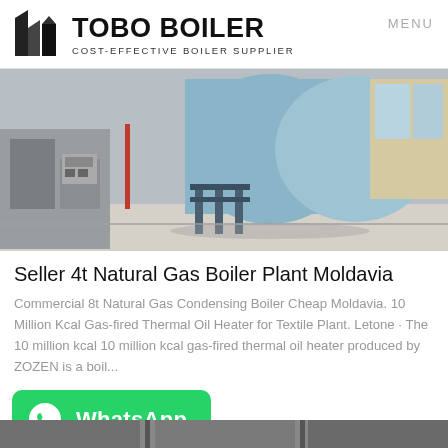TOBO BOILER — COST-EFFECTIVE BOILER SUPPLIER | MENU
[Figure (photo): Industrial boiler equipment inside a facility — large cylindrical blue boiler tank with metal support frame and various pipes]
Seller 4t Natural Gas Boiler Plant Moldavia
Commercial 8t Natural Gas Condensing Boiler Cheap Moldavia. 10 Million Kcal Gas-fired Thermal Oil Heater for Textile Plant. Letone · The 10 million kcal 10 million kcal gas-fired thermal oil heater produced by ZOZEN is a boil...
[Figure (logo): WhatsApp button — green rounded rectangle with WhatsApp phone icon and text 'WhatsApp']
[Figure (photo): Partial image of industrial equipment at the bottom of the page (cropped)]